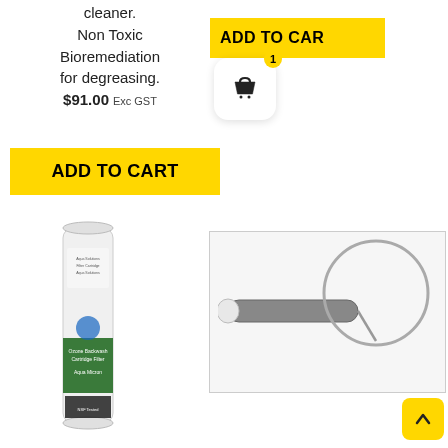cleaner. Non Toxic Bioremediation for degreasing. $91.00 Exc GST
[Figure (screenshot): ADD TO CART button (partial, yellow) at top right with basket icon and badge showing 1]
[Figure (screenshot): ADD TO CART yellow button below product text]
[Figure (photo): A cylindrical white filter cartridge with green and blue label]
[Figure (photo): A grey cylindrical tool with a circular wire loop, on white background]